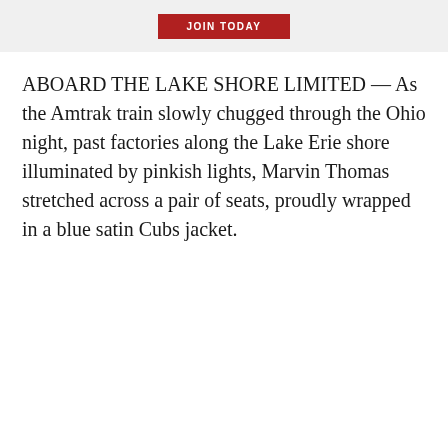[Figure (other): Red 'JOIN TODAY' button on a light gray banner background]
ABOARD THE LAKE SHORE LIMITED — As the Amtrak train slowly chugged through the Ohio night, past factories along the Lake Erie shore illuminated by pinkish lights, Marvin Thomas stretched across a pair of seats, proudly wrapped in a blue satin Cubs jacket.